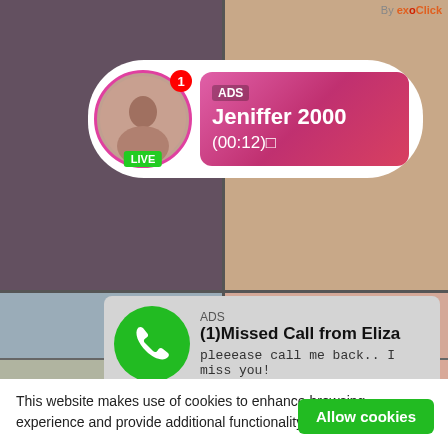[Figure (screenshot): Background collage of images — dark left panel, tan/skin-tone right panel, outdoor scene bottom-left, close-up bottom-right]
[Figure (infographic): Live notification ad bubble: circular avatar with pink border and LIVE badge, pink-to-red gradient content box showing ADS label, name Jeniffer 2000, time (00:12)]
ADS
Jeniffer 2000
(00:12)
[Figure (infographic): Missed call notification ad: green phone icon circle, ADS label, title (1)Missed Call from Eliza, subtitle pleeease call me back.. I miss you!, audio player bar with progress, rewind/play/fast-forward controls]
ADS
(1)Missed Call from Eliza
pleeease call me back.. I miss you!
0:00
3:23
This website makes use of cookies to enhance browsing experience and provide additional functionality. Privacy policy
Allow cookies